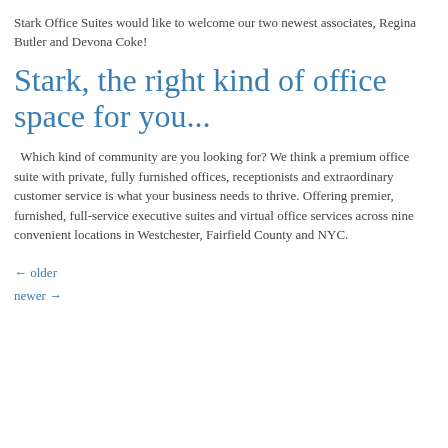Stark Office Suites would like to welcome our two newest associates, Regina Butler and Devona Coke!
Stark, the right kind of office space for you...
Which kind of community are you looking for? We think a premium office suite with private, fully furnished offices, receptionists and extraordinary customer service is what your business needs to thrive. Offering premier, furnished, full-service executive suites and virtual office services across nine convenient locations in Westchester, Fairfield County and NYC.
← older
newer →